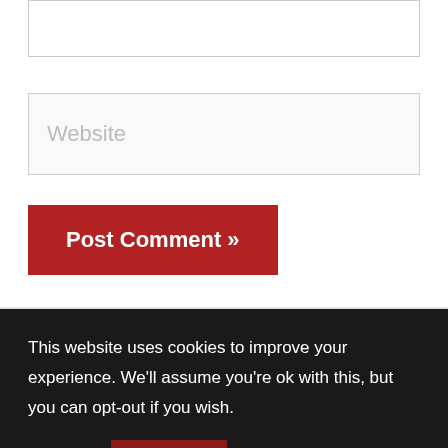Website (placeholder input box)
Post Comment »
This website uses cookies to improve your experience. We'll assume you're ok with this, but you can opt-out if you wish.
Accept
Read More